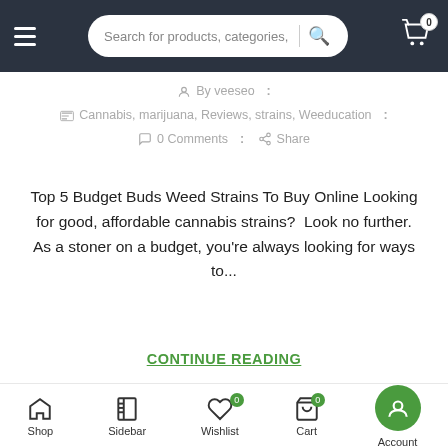Search for products, categories, b
By veeseo :
Cannabis, marijuana, Reviews, strains, Weeducation :
0 Comments : Share
Top 5 Budget Buds Weed Strains To Buy Online Looking for good, affordable cannabis strains?  Look no further. As a stoner on a budget, you're always looking for ways to...
CONTINUE READING
1  2  3  ...  33  34  NEXT
Shop  Sidebar  Wishlist  Cart  Account